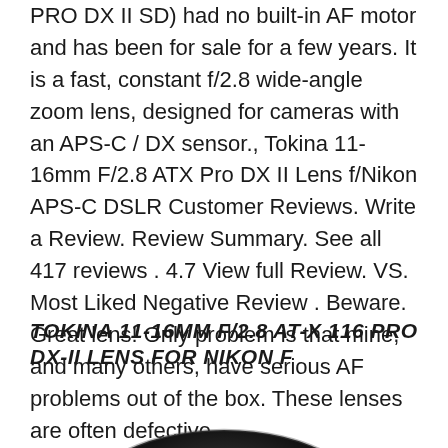PRO DX II SD) had no built-in AF motor and has been for sale for a few years. It is a fast, constant f/2.8 wide-angle zoom lens, designed for cameras with an APS-C / DX sensor., Tokina 11-16mm F/2.8 ATX Pro DX II Lens f/Nikon APS-C DSLR Customer Reviews. Write a Review. Review Summary. See all 417 reviews . 4.7 View full Review. VS. Most Liked Negative Review . Beware. Great lens! Only problem is that mine, and many others, have serious AF problems out of the box. These lenses are often defective..
TOKINA 11-16MM F/2.8 AT-X 116 PRO DX-II LENS FOR NIKON F
[Figure (photo): Close-up photo of a camera lens (Tokina 11-16mm F/2.8 AT-X 116 PRO DX-II), showing the front element of the black lens from a slightly angled top view.]